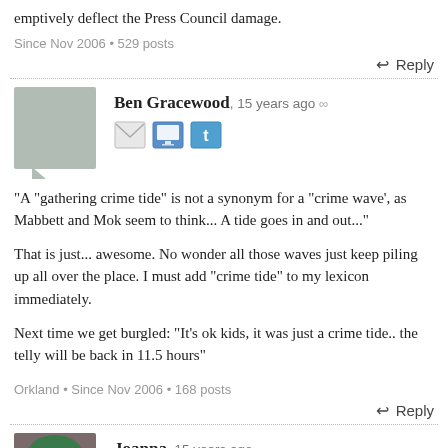emptively deflect the Press Council damage.
Since Nov 2006 • 529 posts
↩ Reply
Ben Gracewood, 15 years ago ∞
"A "gathering crime tide" is not a synonym for a "crime wave', as Mabbett and Mok seem to think... A tide goes in and out..."
That is just... awesome. No wonder all those waves just keep piling up all over the place. I must add "crime tide" to my lexicon immediately.
Next time we get burgled: "It's ok kids, it was just a crime tide.. the telly will be back in 11.5 hours"
Orkland • Since Nov 2006 • 168 posts
↩ Reply
Joanna, 15 years ago ∞